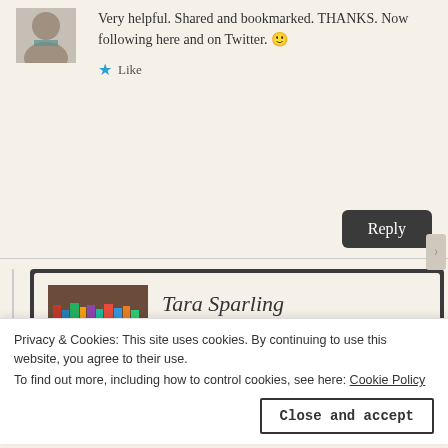[Figure (photo): Small avatar photo of a person, partially visible at top left]
Very helpful. Shared and bookmarked. THANKS. Now following here and on Twitter. 🙂
★ Like
Reply
Tara Sparling
August 2, 2014 at 2:03 am
[Figure (photo): Profile photo of Tara Sparling, a woman with dark hair wearing a red jacket]
Privacy & Cookies: This site uses cookies. By continuing to use this website, you agree to their use.
To find out more, including how to control cookies, see here: Cookie Policy
Close and accept